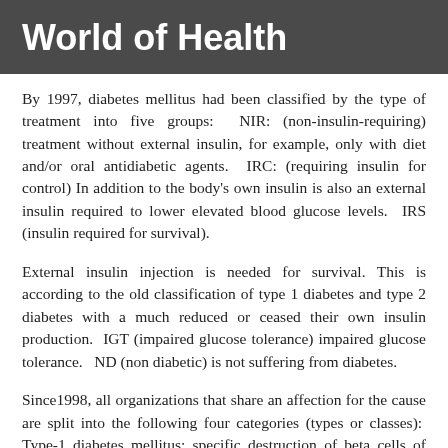World of Health
By 1997, diabetes mellitus had been classified by the type of treatment into five groups:  NIR: (non-insulin-requiring) treatment without external insulin, for example, only with diet and/or oral antidiabetic agents.  IRC: (requiring insulin for control) In addition to the body's own insulin is also an external insulin required to lower elevated blood glucose levels.  IRS (insulin required for survival).
External insulin injection is needed for survival. This is according to the old classification of type 1 diabetes and type 2 diabetes with a much reduced or ceased their own insulin production.  IGT (impaired glucose tolerance) impaired glucose tolerance.  ND (non diabetic) is not suffering from diabetes.
Since1998, all organizations that share an affection for the cause are split into the following four categories (types or classes):  Type-1 diabetes mellitus: specific destruction of beta cells of pancreatic islets of the pancreas, usually leading to absolute insulin deficiency.  Type 1a: immune-mediated (autoimmune disease).  Type